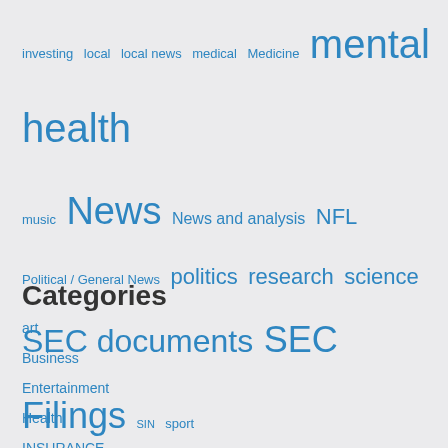investing
local
local news
medical
Medicine
mental health
music
News
News and analysis
NFL
Political / General News
politics
research
science
SEC documents
SEC Filings
SIN
sport
sports
technology
trade
Us
Categories
art
Business
Entertainment
Health
INSURANCE